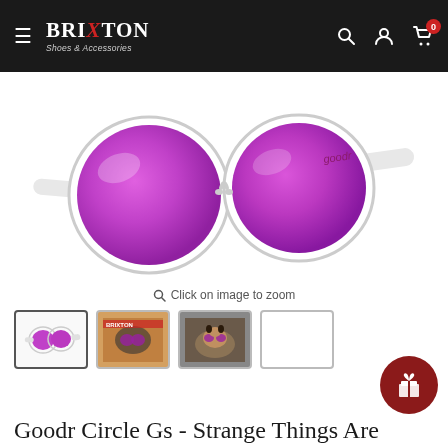Brixton Shoes & Accessories — navigation bar with hamburger menu, logo, search, account, cart (0)
[Figure (photo): Goodr Circle Gs sunglasses with translucent white frames and pink/purple mirrored lenses shown at an angle on white background. Brand name 'goodr' visible on temple.]
Click on image to zoom
[Figure (photo): Thumbnail 1: product shot of sunglasses on white background (active/selected)]
[Figure (photo): Thumbnail 2: lifestyle photo of person wearing the sunglasses outdoors]
[Figure (photo): Thumbnail 3: lifestyle photo of dog wearing the sunglasses]
[Figure (illustration): Thumbnail 4: two blue dots representing lens color swatch]
Goodr Circle Gs - Strange Things Are